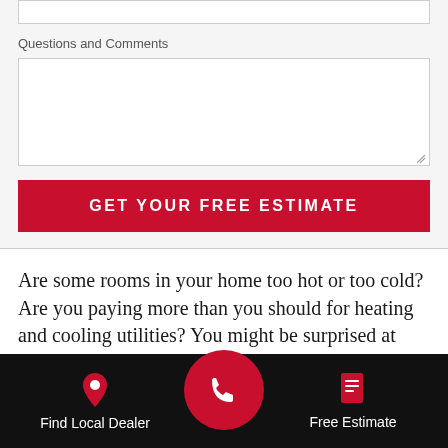Questions and Comments
[Figure (screenshot): Web form with a textarea for Questions and Comments, a red GET YOUR FREE ESTIMATE button, body text about home comfort and utilities, and a black footer navigation bar with Find Local Dealer and Free Estimate links and a central red phone call button.]
Are some rooms in your home too hot or too cold? Are you paying more than you should for heating and cooling utilities? You might be surprised at how small improvements can make a big difference in your home's (and wallet's) comfort potential. Schedule a free, no-obligation service estimate with
Find Local Dealer   Free Estimate